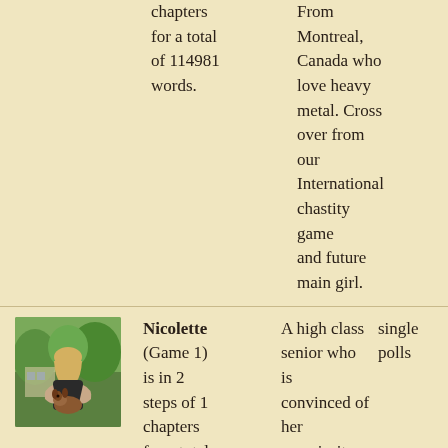chapters for a total of 114981 words.
From Montreal, Canada who love heavy metal. Cross over from our International chastity game and future main girl.
[Figure (photo): Young woman with blonde hair wearing black top, holding a brown puppy, outdoors with trees in background]
Nicolette (Game 1) is in 2 steps of 1 chapters for a total of 2649
A high class senior who is convinced of her superiority over everyone,
single polls